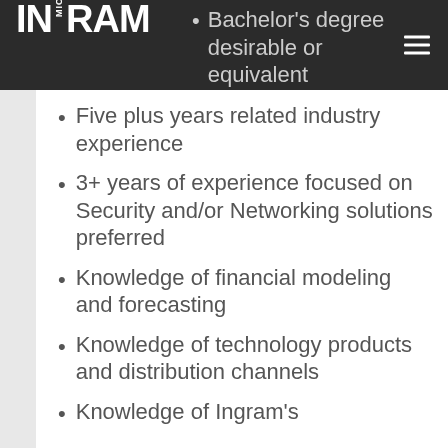Ingram Micro
Bachelor's degree desirable or equivalent work experience
Five plus years related industry experience
3+ years of experience focused on Security and/or Networking solutions preferred
Knowledge of financial modeling and forecasting
Knowledge of technology products and distribution channels
Knowledge of Ingram's